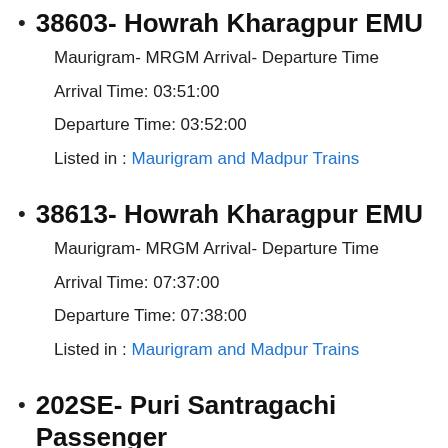38603- Howrah Kharagpur EMU
Maurigram- MRGM Arrival- Departure Time
Arrival Time: 03:51:00
Departure Time: 03:52:00
Listed in : Maurigram and Madpur Trains
38613- Howrah Kharagpur EMU
Maurigram- MRGM Arrival- Departure Time
Arrival Time: 07:37:00
Departure Time: 07:38:00
Listed in : Maurigram and Madpur Trains
202SE- Puri Santragachi Passenger